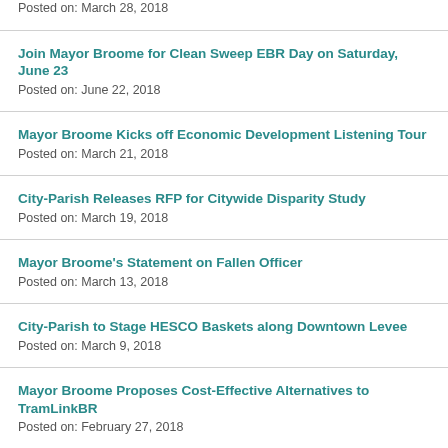Posted on: March 28, 2018
Join Mayor Broome for Clean Sweep EBR Day on Saturday, June 23
Posted on: June 22, 2018
Mayor Broome Kicks off Economic Development Listening Tour
Posted on: March 21, 2018
City-Parish Releases RFP for Citywide Disparity Study
Posted on: March 19, 2018
Mayor Broome's Statement on Fallen Officer
Posted on: March 13, 2018
City-Parish to Stage HESCO Baskets along Downtown Levee
Posted on: March 9, 2018
Mayor Broome Proposes Cost-Effective Alternatives to TramLinkBR
Posted on: February 27, 2018